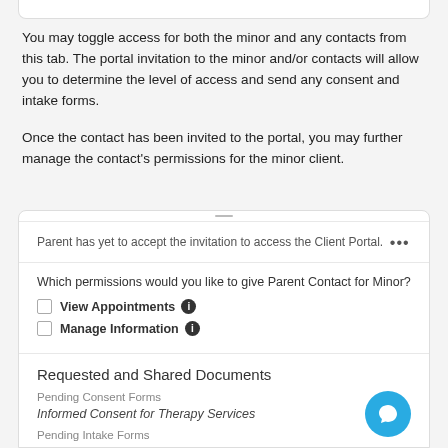You may toggle access for both the minor and any contacts from this tab. The portal invitation to the minor and/or contacts will allow you to determine the level of access and send any consent and intake forms.
Once the contact has been invited to the portal, you may further manage the contact's permissions for the minor client.
Parent has yet to accept the invitation to access the Client Portal. •••
Which permissions would you like to give Parent Contact for Minor?
View Appointments ℹ
Manage Information ℹ
Requested and Shared Documents
Pending Consent Forms
Informed Consent for Therapy Services
Pending Intake Forms